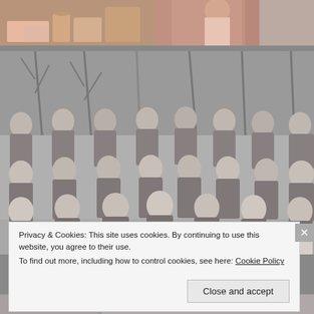[Figure (photo): Top strip showing a social gathering scene with people in pink clothing, drinks and snacks on a table, and a woman in a red patterned dress]
[Figure (photo): Black and white group photo of a rugby team posed in rows outdoors with trees in the background; players wearing rugby jerseys with arms crossed; one player in the front row holding a rugby ball]
Privacy & Cookies: This site uses cookies. By continuing to use this website, you agree to their use.
To find out more, including how to control cookies, see here: Cookie Policy
Close and accept